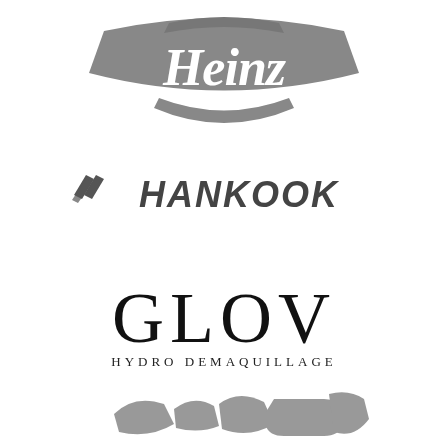[Figure (logo): Heinz brand logo in gray, classic script lettering on a banner/shield shape]
[Figure (logo): Hankook tire brand logo in gray, with stylized double-wing mark before the bold italic text]
[Figure (logo): GLOV Hydro Demaquillage logo in black, large serif capitals for GLOV and smaller spaced caps for subtitle]
[Figure (logo): Partially visible gray logo at bottom of page, cropped]